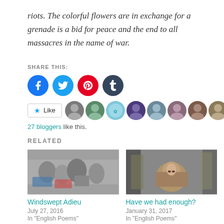riots. The colorful flowers are in exchange for a grenade is a bid for peace and the end to all massacres in the name of war.
SHARE THIS:
[Figure (infographic): Four social media share buttons: Facebook (blue circle), Twitter (light blue circle), Pinterest (red circle), Tumblr (dark blue circle)]
[Figure (infographic): Like button with star icon and a strip of 9 blogger avatar thumbnails]
27 bloggers like this.
RELATED
[Figure (photo): Photo of a crowd of people on a street, related to 'Windswept Adieu']
Windswept Adieu
July 27, 2016
In "English Poems"
[Figure (photo): Photo of a young child lying down looking at the camera, related to 'Have we had enough?']
Have we had enough?
January 31, 2017
In "English Poems"